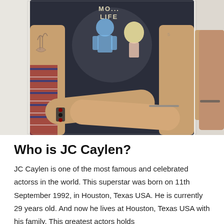[Figure (photo): Close-up photo of a person wearing a dark navy graphic t-shirt with a cartoon character design and text reading 'MO... LIFE', with tattooed arms crossed in front, wearing bracelets. A plaid/checkered clothing item is partially visible on the left side.]
Who is JC Caylen?
JC Caylen is one of the most famous and celebrated actorss in the world. This superstar was born on 11th September 1992, in Houston, Texas USA. He is currently 29 years old. And now he lives at Houston, Texas USA with his family. This greatest actors holds